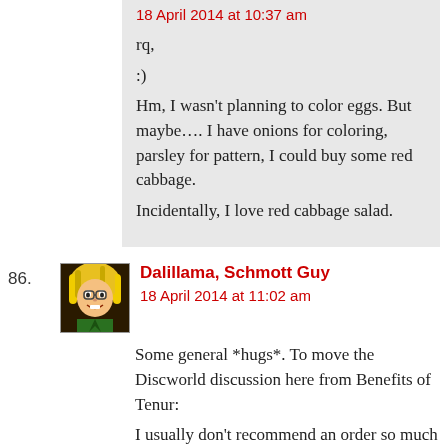happy thought
18 April 2014 at 10:37 am
rq,
:)
Hm, I wasn’t planning to color eggs. But maybe…. I have onions for coloring, parsley for pattern, I could buy some red cabbage.
Incidentally, I love red cabbage salad.
86.
Dalillama, Schmott Guy
18 April 2014 at 11:02 am
Some general *hugs*. To move the Discworld discussion here from Benefits of Tenur:
I usually don’t recommend an order so much as an anti-order to the Discworld books. I recommend not reading